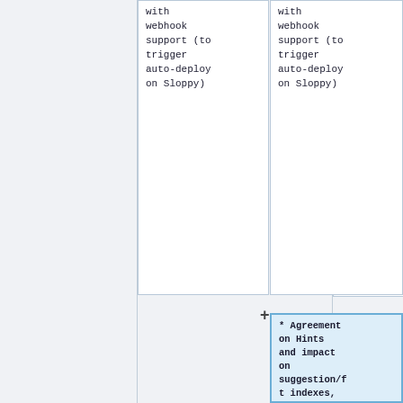with webhook support (to trigger auto-deploy on Sloppy)
with webhook support (to trigger auto-deploy on Sloppy)
* Agreement on Hints and impact on suggestion/ft indexes, see [https://github.com/openzim/libzim/issues/642#issuecomment-954062597 openzim/libzim #642]